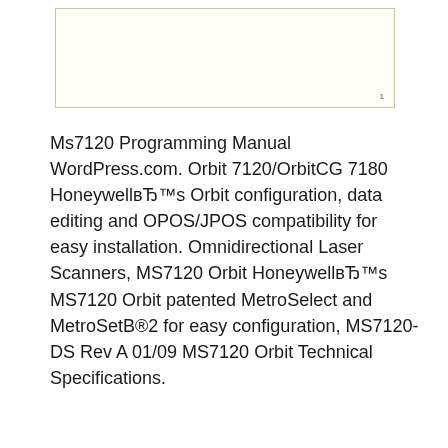[Figure (other): Empty white box with border, likely a placeholder image or figure region with a small page number '1' in the lower right corner]
Ms7120 Programming Manual WordPress.com. Orbit 7120/OrbitCG 7180 HoneywellвЂ™s Orbit configuration, data editing and OPOS/JPOS compatibility for easy installation. Omnidirectional Laser Scanners, MS7120 Orbit HoneywellвЂ™s MS7120 Orbit patented MetroSelect and MetroSetB®2 for easy configuration, MS7120-DS Rev A 01/09 MS7120 Orbit Technical Specifications.